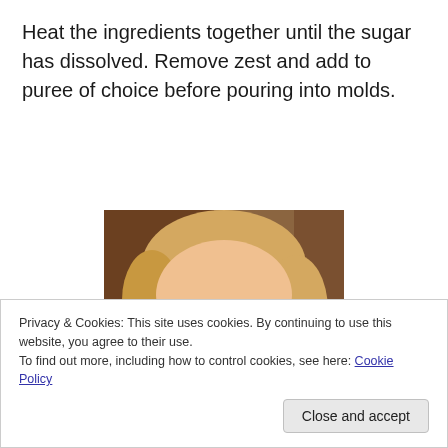Heat the ingredients together until the sugar has dissolved. Remove zest and add to puree of choice before pouring into molds.
[Figure (photo): Close-up photo of a smiling baby/toddler with light curly hair and blue eyes, centered on the page.]
Privacy & Cookies: This site uses cookies. By continuing to use this website, you agree to their use.
To find out more, including how to control cookies, see here: Cookie Policy